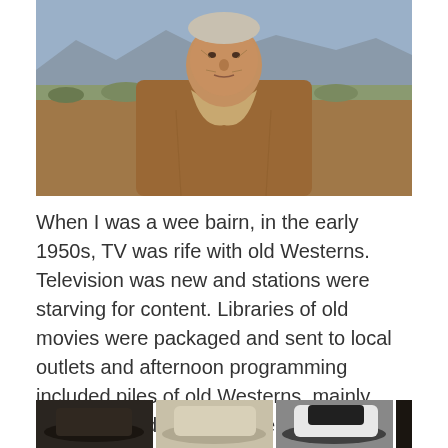[Figure (photo): Elderly man in a brown suede Western jacket with a bandana/scarf around his neck, outdoors with desert landscape and mountains in the background.]
When I was a wee bairn, in the early 1950s, TV was rife with old Westerns. Television was new and stations were starving for content. Libraries of old movies were packaged and sent to local outlets and afternoon programming included piles of old Westerns, mainly from the Golden Age of the 1930s. As a five-year old, maybe seven, I clearly had my favorite cowboy stars. Hoot Gibson, Tim McCoy, Ken Maynard, Buck Jones. And Bob Steele. All of them stars before the advent of Gene Autry or Roy Rogers.
[Figure (photo): Strip of four cowboy hat images: dark hat, light tan/beige hat, black and white hat, dark hat partially visible.]